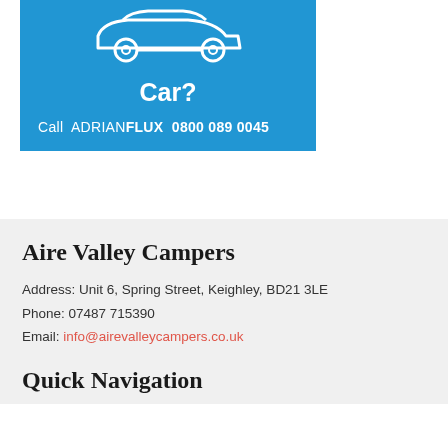[Figure (illustration): Blue advertisement banner for Adrian Flux insurance showing a car outline icon, text 'Car?' and 'Call ADRIANFLUX 0800 089 0045']
Aire Valley Campers
Address: Unit 6, Spring Street, Keighley, BD21 3LE
Phone: 07487 715390
Email: info@airevalleycampers.co.uk
Quick Navigation